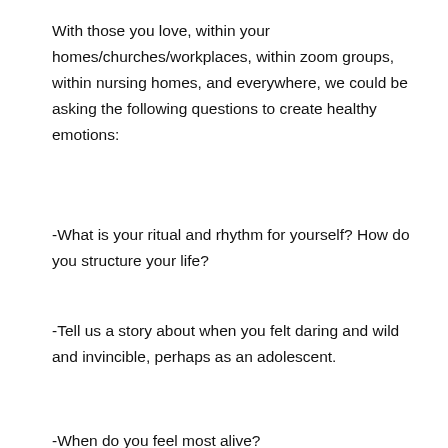With those you love, within your homes/churches/workplaces, within zoom groups, within nursing homes, and everywhere, we could be asking the following questions to create healthy emotions:
-What is your ritual and rhythm for yourself? How do you structure your life?
-Tell us a story about when you felt daring and wild and invincible, perhaps as an adolescent.
-When do you feel most alive?